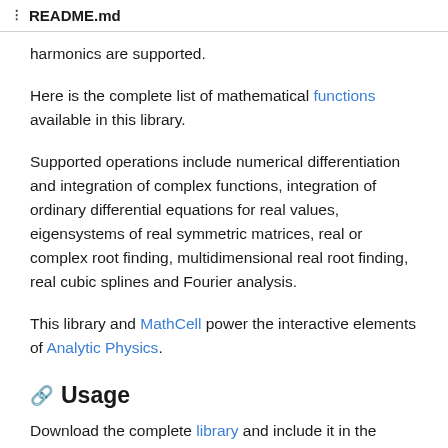☰  README.md
harmonics are supported.
Here is the complete list of mathematical functions available in this library.
Supported operations include numerical differentiation and integration of complex functions, integration of ordinary differential equations for real values, eigensystems of real symmetric matrices, real or complex root finding, multidimensional real root finding, real cubic splines and Fourier analysis.
This library and MathCell power the interactive elements of Analytic Physics.
🔗 Usage
Download the complete library and include it in the body of your...